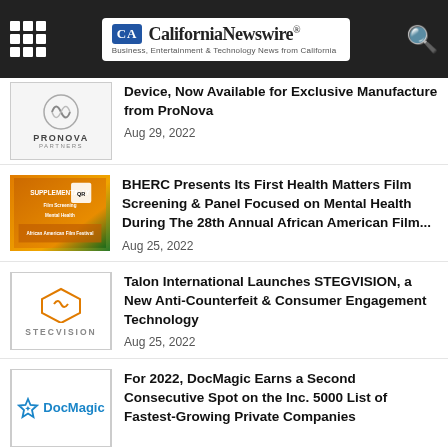California Newswire® — Business, Entertainment & Technology News from California
Device, Now Available for Exclusive Manufacture from ProNova
Aug 29, 2022
BHERC Presents Its First Health Matters Film Screening & Panel Focused on Mental Health During The 28th Annual African American Film...
Aug 25, 2022
Talon International Launches STEGVISION, a New Anti-Counterfeit & Consumer Engagement Technology
Aug 25, 2022
For 2022, DocMagic Earns a Second Consecutive Spot on the Inc. 5000 List of Fastest-Growing Private Companies